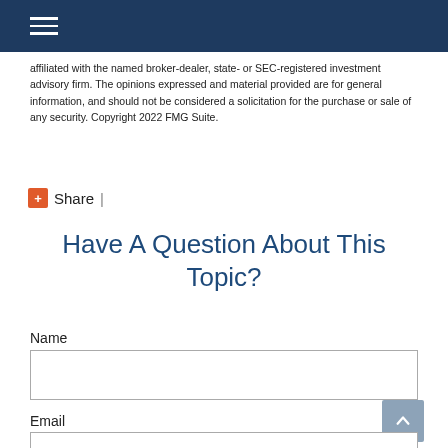Navigation header bar with hamburger menu
affiliated with the named broker-dealer, state- or SEC-registered investment advisory firm. The opinions expressed and material provided are for general information, and should not be considered a solicitation for the purchase or sale of any security. Copyright 2022 FMG Suite.
+Share |
Have A Question About This Topic?
Name
Email